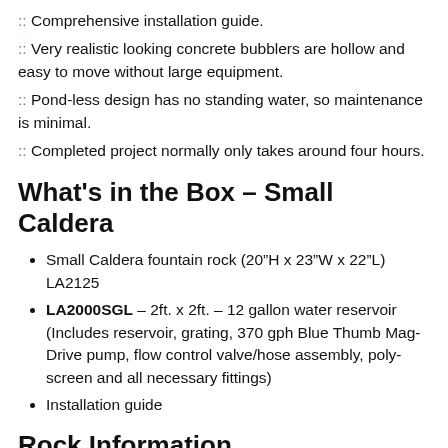:: Comprehensive installation guide.
:: Very realistic looking concrete bubblers are hollow and easy to move without large equipment.
:: Pond-less design has no standing water, so maintenance is minimal.
:: Completed project normally only takes around four hours.
What's in the Box – Small Caldera
Small Caldera fountain rock (20"H x 23"W x 22"L) LA2125
LA2000SGL – 2ft. x 2ft. – 12 gallon water reservoir (Includes reservoir, grating, 370 gph Blue Thumb Mag-Drive pump, flow control valve/hose assembly, poly-screen and all necessary fittings)
Installation guide
Rock Information
Liquid Art Rock Fountain Designs are exact replicas of the